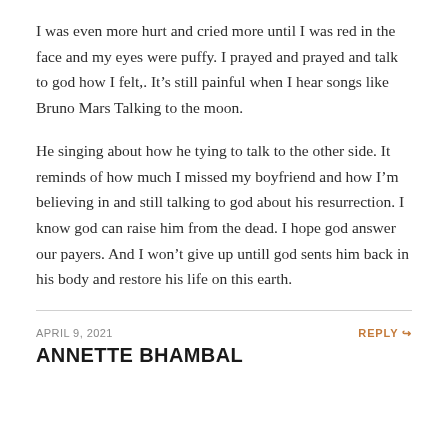I was even more hurt and cried more until I was red in the face and my eyes were puffy. I prayed and prayed and talk to god how I felt,. It’s still painful when I hear songs like Bruno Mars Talking to the moon.
He singing about how he tying to talk to the other side. It reminds of how much I missed my boyfriend and how I’m believing in and still talking to god about his resurrection. I know god can raise him from the dead. I hope god answer our payers. And I won’t give up untill god sents him back in his body and restore his life on this earth.
APRIL 9, 2021
REPLY
ANNETTE BHAMBAL